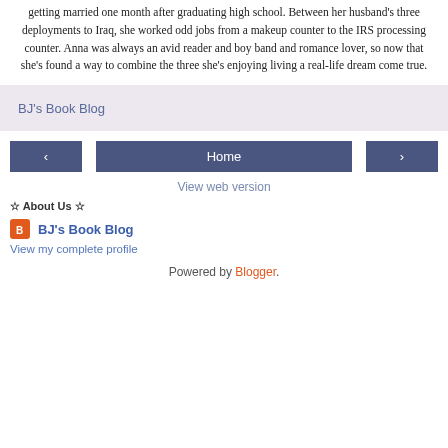getting married one month after graduating high school. Between her husband's three deployments to Iraq, she worked odd jobs from a makeup counter to the IRS processing counter. Anna was always an avid reader and boy band and romance lover, so now that she's found a way to combine the three she's enjoying living a real-life dream come true.
BJ's Book Blog
< Home >
View web version
☆ About Us ☆
BJ's Book Blog
View my complete profile
Powered by Blogger.